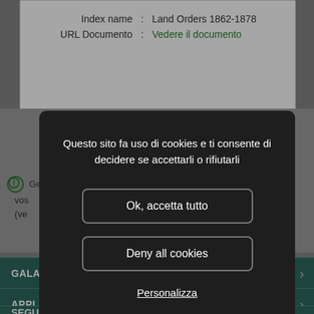Index name : Land Orders 1862-1878
URL Documento : Vedere il documento
[Figure (screenshot): Cookie consent modal dialog overlaying a website. The modal has a dark background with white text reading 'Questo sito fa uso di cookies e ti consente di decidere se accettarli o rifiutarli', two buttons 'Ok, accetta tutto' and 'Deny all cookies', and two underlined links 'Personalizza' and 'Politica dei cookies'. Behind the modal, partial website content is visible including index name 'Land Orders 1862-1878', a URL link 'Vedere il documento', and dark teal navigation rows labeled 'GALAS', 'APPLICAZIONI', and 'SEGUITECI'.]